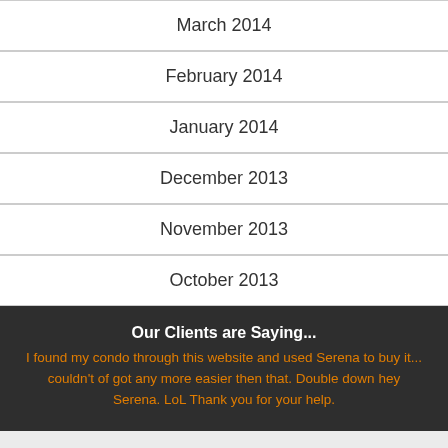March 2014
February 2014
January 2014
December 2013
November 2013
October 2013
Our Clients are Saying... I found my condo through this website and used Serena to buy it... couldn't of got any more easier then that. Double down hey Serena. LoL Thank you for your help.
JONES co Real Estate Inc
250-857-0584
VicRealEstate.ca
Sign Up  Sign In